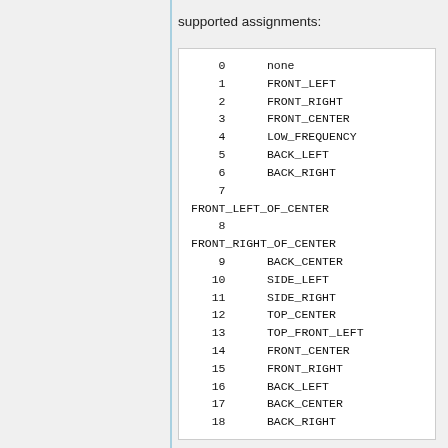supported assignments:
0    none
1    FRONT_LEFT
2    FRONT_RIGHT
3    FRONT_CENTER
4    LOW_FREQUENCY
5    BACK_LEFT
6    BACK_RIGHT
7    FRONT_LEFT_OF_CENTER
8    FRONT_RIGHT_OF_CENTER
9    BACK_CENTER
10   SIDE_LEFT
11   SIDE_RIGHT
12   TOP_CENTER
13   TOP_FRONT_LEFT
14   FRONT_CENTER
15   FRONT_RIGHT
16   BACK_LEFT
17   BACK_CENTER
18   BACK_RIGHT